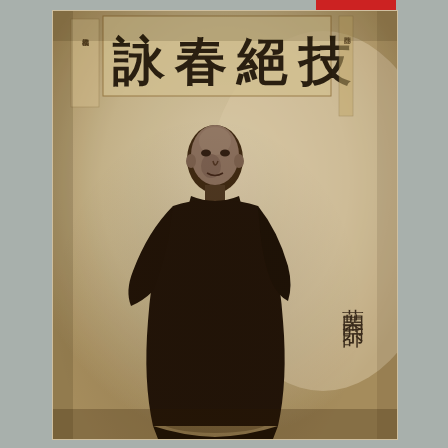[Figure (photo): Sepia-toned vintage photograph of a Chinese martial arts grandmaster standing in a long dark robe/changpao. Behind him is a calligraphy banner on the wall reading 詠春絕技 (Ving Tsun Exceptional Skills). To the lower right of the photo, vertical Chinese characters read 葉問宗師 (Grandmaster Ip Man). The photo has a warm sepia tone typical of mid-20th century photography.]